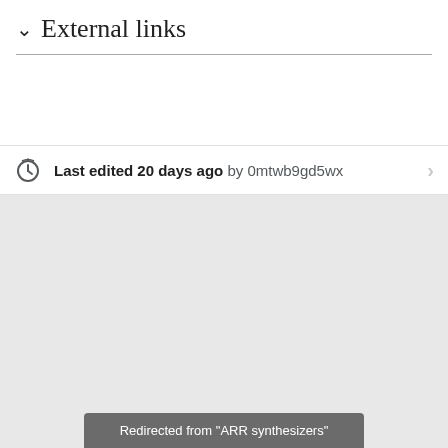External links
Last edited 20 days ago by 0mtwb9gd5wx
Redirected from "ARR synthesizers"